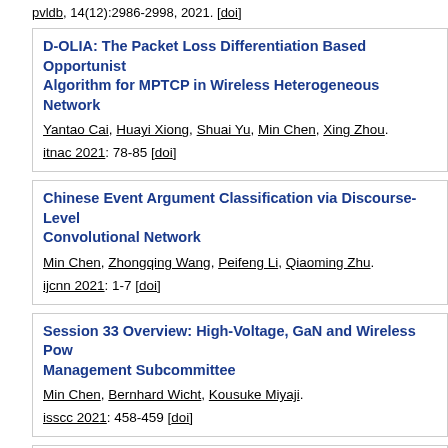pvldb, 14(12):2986-2998, 2021. [doi]
D-OLIA: The Packet Loss Differentiation Based Opportunistic Algorithm for MPTCP in Wireless Heterogeneous Network
Yantao Cai, Huayi Xiong, Shuai Yu, Min Chen, Xing Zhou.
itnac 2021: 78-85 [doi]
Chinese Event Argument Classification via Discourse-Level Convolutional Network
Min Chen, Zhongqing Wang, Peifeng Li, Qiaoming Zhu.
ijcnn 2021: 1-7 [doi]
Session 33 Overview: High-Voltage, GaN and Wireless Power Management Subcommittee
Min Chen, Bernhard Wicht, Kousuke Miyaji.
isscc 2021: 458-459 [doi]
Dynamic Time Warping Based Passive Crowd Counting Using Signal Strength